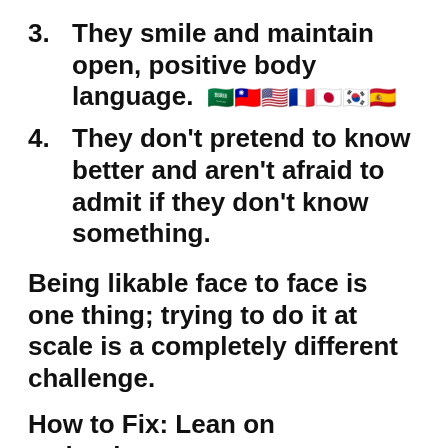3. They smile and maintain open, positive body language.
4. They don't pretend to know better and aren't afraid to admit if they don't know something.
Being likable face to face is one thing; trying to do it at scale is a completely different challenge.
How to Fix: Lean on technology.
Marketing automation and sales enablement tools are an absolute must. Using personalization tokens allows you to craft messaging at scale that still resonates with your prospects and makes them feel special